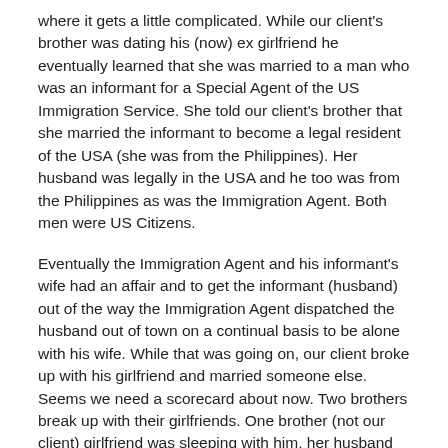where it gets a little complicated. While our client's brother was dating his (now) ex girlfriend he eventually learned that she was married to a man who was an informant for a Special Agent of the US Immigration Service. She told our client's brother that she married the informant to become a legal resident of the USA (she was from the Philippines). Her husband was legally in the USA and he too was from the Philippines as was the Immigration Agent. Both men were US Citizens.
Eventually the Immigration Agent and his informant's wife had an affair and to get the informant (husband) out of the way the Immigration Agent dispatched the husband out of town on a continual basis to be alone with his wife. While that was going on, our client broke up with his girlfriend and married someone else. Seems we need a scorecard about now. Two brothers break up with their girlfriends. One brother (not our client) girlfriend was sleeping with him, her husband and her husband's boss. Then the brothers married two other women. Now we have two very upset ex girlfriends still in the employ of client's company